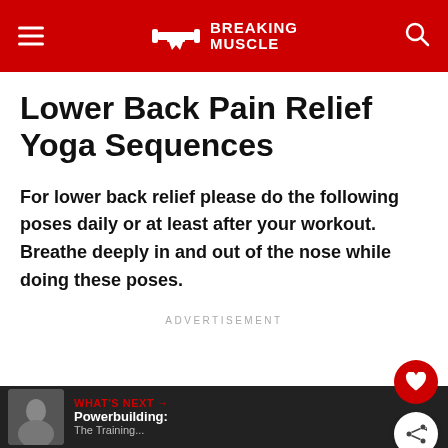BREAKING MUSCLE
Lower Back Pain Relief Yoga Sequences
For lower back relief please do the following poses daily or at least after your workout. Breathe deeply in and out of the nose while doing these poses.
ADVERTISEMENT
WHAT'S NEXT → Powerbuilding: The Training...